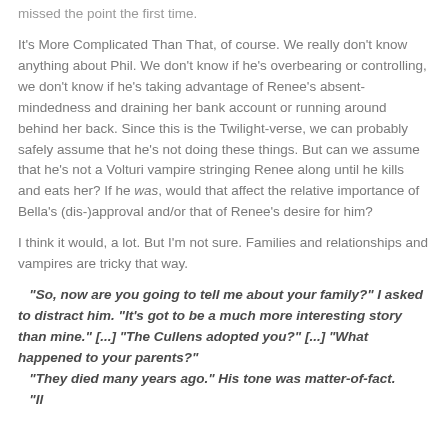missed the point the first time.
It's More Complicated Than That, of course. We really don't know anything about Phil. We don't know if he's overbearing or controlling, we don't know if he's taking advantage of Renee's absent-mindedness and draining her bank account or running around behind her back. Since this is the Twilight-verse, we can probably safely assume that he's not doing these things. But can we assume that he's not a Volturi vampire stringing Renee along until he kills and eats her? If he was, would that affect the relative importance of Bella's (dis-)approval and/or that of Renee's desire for him?
I think it would, a lot. But I'm not sure. Families and relationships and vampires are tricky that way.
"So, now are you going to tell me about your family?" I asked to distract him. "It's got to be a much more interesting story than mine." [...] "The Cullens adopted you?" [...] "What happened to your parents?" "They died many years ago." His tone was matter-of-fact.